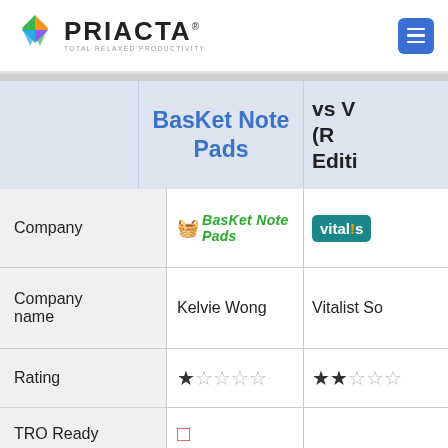[Figure (logo): Priacta logo with colorful diamond shape and tagline 'TOTAL RELAXED PRODUCTIVITY']
|  | BasKet Note Pads | vs V... (R... Editi... |
| --- | --- | --- |
| Company | 🧺BasKet Note Pads [logo] | vital!s [logo] |
| Company name | Kelvie Wong | Vitalist So... |
| Rating | ★☆☆☆☆ | ★★☆☆☆ |
| TRO Ready | □ (red) |  |